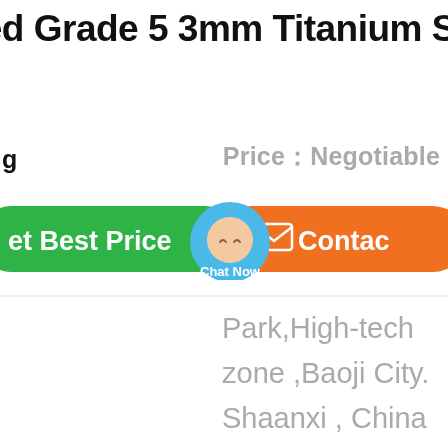led Grade 5 3mm Titanium Sheet
Price：Negotiable
g
[Figure (infographic): Green 'Get Best Price' button, a blue chat bubble with 'Chat Now' label, and an orange 'Contact' button side by side]
Park,High-tech zone ,Baoji City. Shaanxi , China 721013 ,China